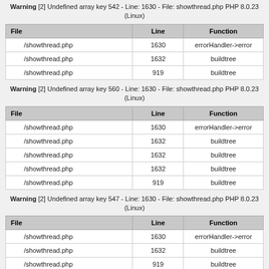Warning [2] Undefined array key 542 - Line: 1630 - File: showthread.php PHP 8.0.23 (Linux)
| File | Line | Function |
| --- | --- | --- |
| /showthread.php | 1630 | errorHandler->error |
| /showthread.php | 1632 | buildtree |
| /showthread.php | 919 | buildtree |
Warning [2] Undefined array key 560 - Line: 1630 - File: showthread.php PHP 8.0.23 (Linux)
| File | Line | Function |
| --- | --- | --- |
| /showthread.php | 1630 | errorHandler->error |
| /showthread.php | 1632 | buildtree |
| /showthread.php | 1632 | buildtree |
| /showthread.php | 1632 | buildtree |
| /showthread.php | 919 | buildtree |
Warning [2] Undefined array key 547 - Line: 1630 - File: showthread.php PHP 8.0.23 (Linux)
| File | Line | Function |
| --- | --- | --- |
| /showthread.php | 1630 | errorHandler->error |
| /showthread.php | 1632 | buildtree |
| /showthread.php | 919 | buildtree |